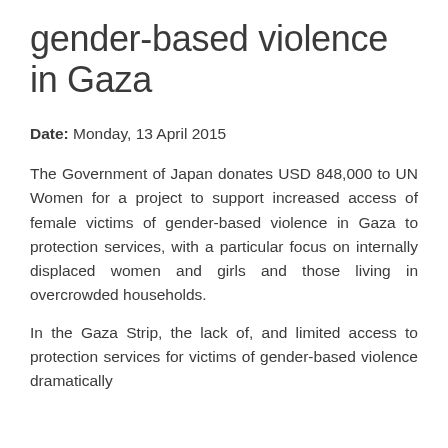gender-based violence in Gaza
Date: Monday, 13 April 2015
The Government of Japan donates USD 848,000 to UN Women for a project to support increased access of female victims of gender-based violence in Gaza to protection services, with a particular focus on internally displaced women and girls and those living in overcrowded households.
In the Gaza Strip, the lack of, and limited access to protection services for victims of gender-based violence dramatically